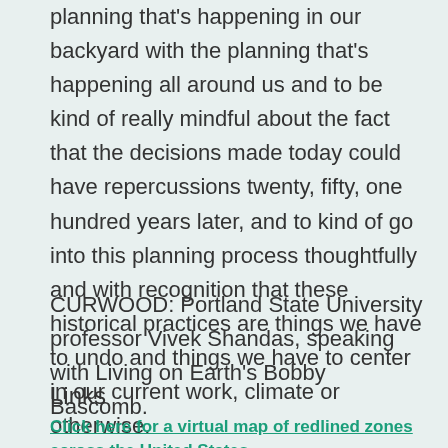planning that's happening in our backyard with the planning that's happening all around us and to be kind of really mindful about the fact that the decisions made today could have repercussions twenty, fifty, one hundred years later, and to kind of go into this planning process thoughtfully and with recognition that these historical practices are things we have to undo and things we have to center in our current work, climate or otherwise.
CURWOOD: Portland State University professor Vivek Shandas, speaking with Living on Earth's Bobby Bascomb.
Links
Click here for a virtual map of redlined zones across the United States
Click here to read The Effects of Historical Housing Policies...